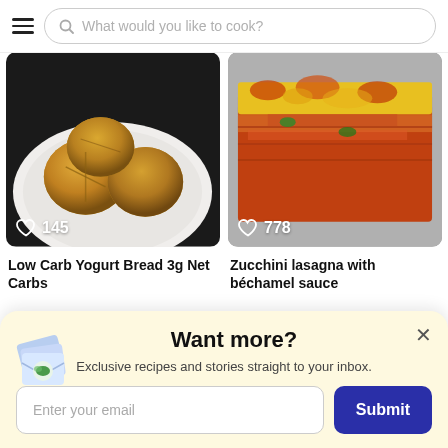What would you like to cook?
[Figure (photo): Photo of low carb yogurt bread rolls on a white plate, with a heart icon and 145 likes overlay]
[Figure (photo): Photo of zucchini lasagna with bechamel sauce, cheesy golden top, with a heart icon and 778 likes overlay]
Low Carb Yogurt Bread 3g Net Carbs
Zucchini lasagna with béchamel sauce
Want more?
Exclusive recipes and stories straight to your inbox.
Enter your email
Submit